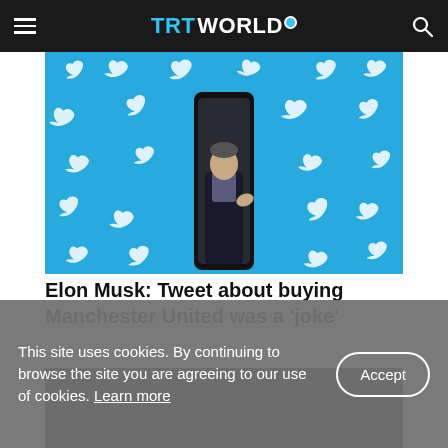TRT WORLD
[Figure (photo): Photo of Elon Musk displayed on a smartphone screen against a blue background covered with white Twitter bird logos]
Elon Musk: Tweet about buying Manchester United was a 'joke'
[Figure (photo): Partially visible second article image, mostly dark/black]
This site uses cookies. By continuing to browse the site you are agreeing to our use of cookies. Learn more